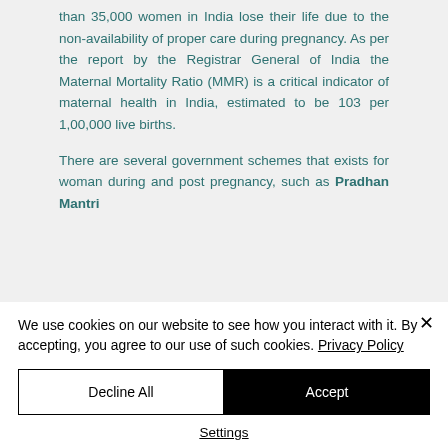than 35,000 women in India lose their life due to the non-availability of proper care during pregnancy. As per the report by the Registrar General of India the Maternal Mortality Ratio (MMR) is a critical indicator of maternal health in India, estimated to be 103 per 1,00,000 live births.
There are several government schemes that exists for woman during and post pregnancy, such as Pradhan Mantri...
We use cookies on our website to see how you interact with it. By accepting, you agree to our use of such cookies. Privacy Policy
Decline All
Accept
Settings